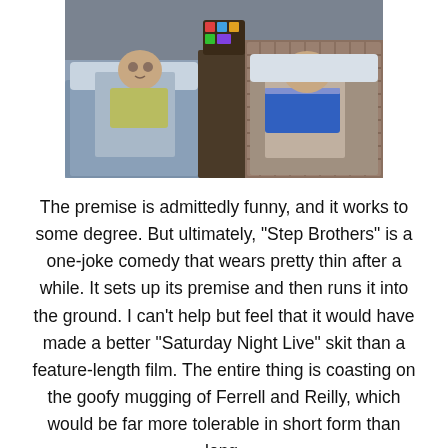[Figure (photo): Two men lying in separate beds in a shared bedroom, with a nightstand between them. Left man wears a yellow t-shirt, right man wears a blue shirt. The room has dim lighting.]
The premise is admittedly funny, and it works to some degree. But ultimately, "Step Brothers" is a one-joke comedy that wears pretty thin after a while. It sets up its premise and then runs it into the ground. I can't help but feel that it would have made a better "Saturday Night Live" skit than a feature-length film. The entire thing is coasting on the goofy mugging of Ferrell and Reilly, which would be far more tolerable in short form than long.